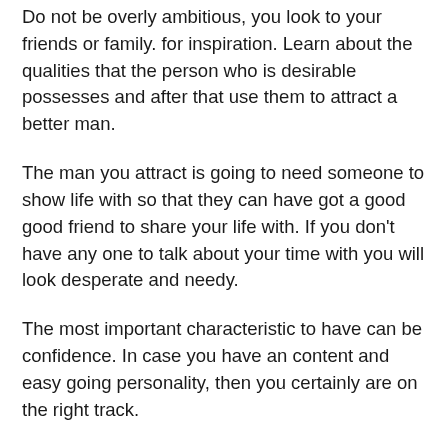Do not be overly ambitious, you look to your friends or family. for inspiration. Learn about the qualities that the person who is desirable possesses and after that use them to attract a better man.
The man you attract is going to need someone to show life with so that they can have got a good good friend to share your life with. If you don't have any one to talk about your time with you will look desperate and needy.
The most important characteristic to have can be confidence. In case you have an content and easy going personality, then you certainly are on the right track.
You need to look into the eyes of the person that you are thinking about so that you can discover what a nice guy he is. If you are not sure about this, you might need to do extra research for the matter. You should look for particular characteristics in the guy you are interested in to see